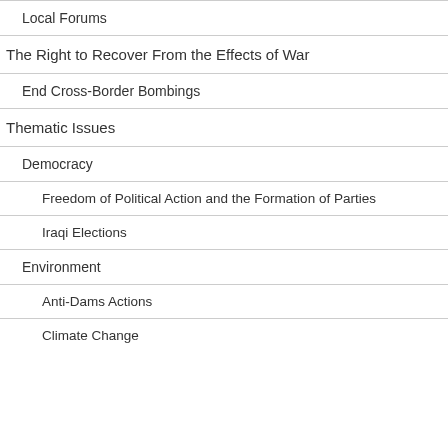Local Forums
The Right to Recover From the Effects of War
End Cross-Border Bombings
Thematic Issues
Democracy
Freedom of Political Action and the Formation of Parties
Iraqi Elections
Environment
Anti-Dams Actions
Climate Change